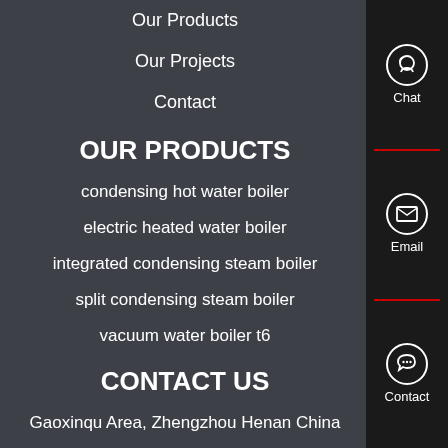Our Products
Our Projects
Contact
OUR PRODUCTS
condensing hot water boiler
electric heated water boiler
integrated condensing steam boiler
split condensing steam boiler
vacuum water boiler t6
CONTACT US
Gaoxinqu Area, Zhengzhou Henan China